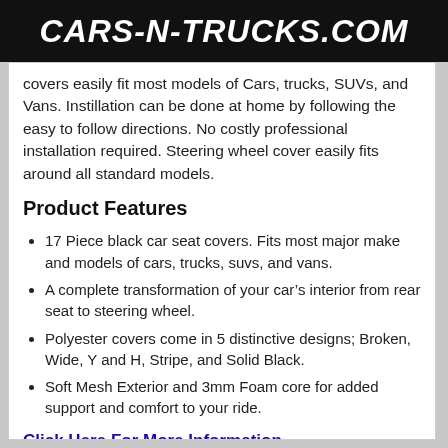CARS-N-TRUCKS.COM
covers easily fit most models of Cars, trucks, SUVs, and Vans. Instillation can be done at home by following the easy to follow directions. No costly professional installation required. Steering wheel cover easily fits around all standard models.
Product Features
17 Piece black car seat covers. Fits most major make and models of cars, trucks, suvs, and vans.
A complete transformation of your car’s interior from rear seat to steering wheel.
Polyester covers come in 5 distinctive designs; Broken, Wide, Y and H, Stripe, and Solid Black.
Soft Mesh Exterior and 3mm Foam core for added support and comfort to your ride.
Click Here For More Information